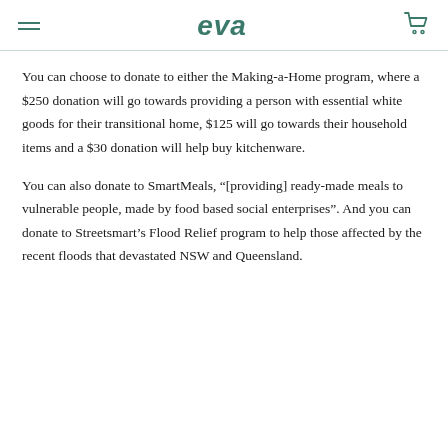eva
You can choose to donate to either the Making-a-Home program, where a $250 donation will go towards providing a person with essential white goods for their transitional home, $125 will go towards their household items and a $30 donation will help buy kitchenware.
You can also donate to SmartMeals, “[providing] ready-made meals to vulnerable people, made by food based social enterprises”. And you can donate to Streetsmart’s Flood Relief program to help those affected by the recent floods that devastated NSW and Queensland.